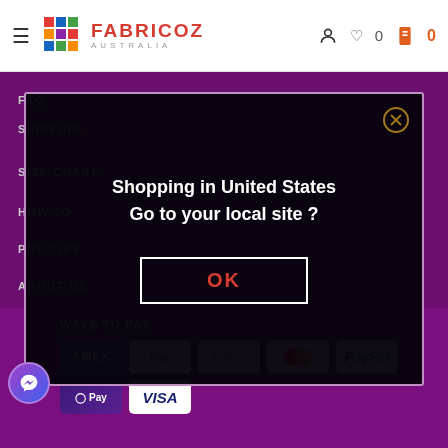[Figure (logo): Fabricoz Australia logo with colorful grid icon and red brand name]
FAQ
SHIPPING
SIZE CHART
HOW TO
POLICIES
ABOUT US
CONTACT US
Shopping in United States
Go to your local site ?
OK
WAYS TO PAY
[Figure (infographic): Payment method icons: AMEX, Apple Pay, Google Pay, Mastercard, PayPal, Samsung Pay, Visa]